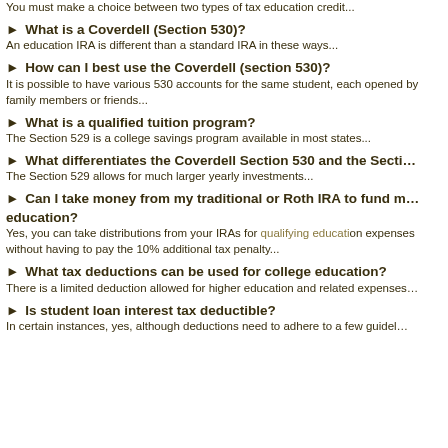You must make a choice between two types of tax education credit...
► What is a Coverdell (Section 530)?
An education IRA is different than a standard IRA in these ways...
► How can I best use the Coverdell (section 530)?
It is possible to have various 530 accounts for the same student, each opened by family members or friends...
► What is a qualified tuition program?
The Section 529 is a college savings program available in most states...
► What differentiates the Coverdell Section 530 and the Secti...
The Section 529 allows for much larger yearly investments...
► Can I take money from my traditional or Roth IRA to fund m... education?
Yes, you can take distributions from your IRAs for qualifying education expenses without having to pay the 10% additional tax penalty...
► What tax deductions can be used for college education?
There is a limited deduction allowed for higher education and related expenses...
► Is student loan interest tax deductible?
In certain instances, yes, although deductions need to adhere to a few guidel...